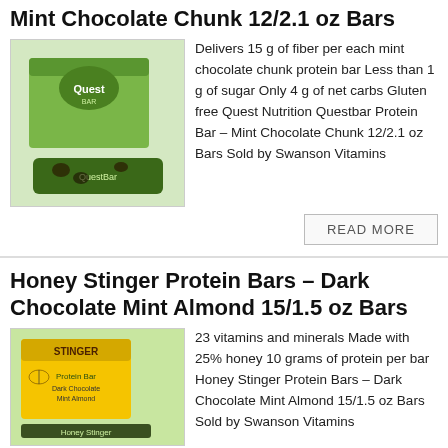Mint Chocolate Chunk 12/2.1 oz Bars
[Figure (photo): Quest Nutrition Questbar Protein Bar – Mint Chocolate Chunk, showing a box with green packaging and a single unwrapped bar.]
Delivers 15 g of fiber per each mint chocolate chunk protein bar Less than 1 g of sugar Only 4 g of net carbs Gluten free Quest Nutrition Questbar Protein Bar – Mint Chocolate Chunk 12/2.1 oz Bars Sold by Swanson Vitamins
READ MORE
Honey Stinger Protein Bars – Dark Chocolate Mint Almond 15/1.5 oz Bars
[Figure (photo): Honey Stinger Protein Bars – Dark Chocolate Mint Almond, showing a green and yellow box with bars.]
23 vitamins and minerals Made with 25% honey 10 grams of protein per bar Honey Stinger Protein Bars – Dark Chocolate Mint Almond 15/1.5 oz Bars Sold by Swanson Vitamins